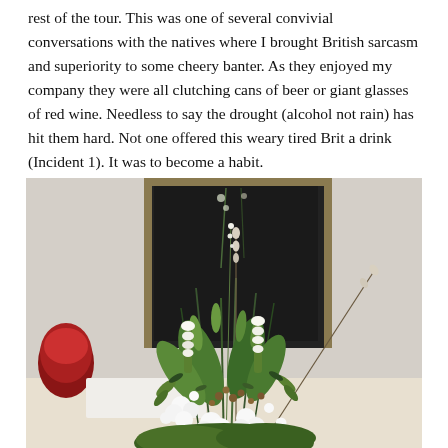rest of the tour. This was one of several convivial conversations with the natives where I brought British sarcasm and superiority to some cheery banter. As they enjoyed my company they were all clutching cans of beer or giant glasses of red wine. Needless to say the drought (alcohol not rain) has hit them hard. Not one offered this weary tired Brit a drink (Incident 1). It was to become a habit.
[Figure (photo): A floral arrangement featuring white flowers, green foliage, pussy willow branches, and mixed greenery in front of a dark-framed mirror or fireplace. A red decorative object is visible on the left side.]